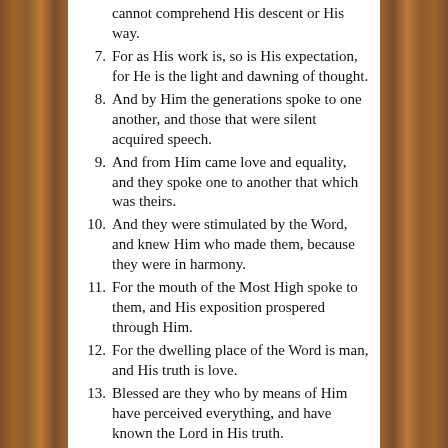cannot comprehend His descent or His way.
7. For as His work is, so is His expectation, for He is the light and dawning of thought.
8. And by Him the generations spoke to one another, and those that were silent acquired speech.
9. And from Him came love and equality, and they spoke one to another that which was theirs.
10. And they were stimulated by the Word, and knew Him who made them, because they were in harmony.
11. For the mouth of the Most High spoke to them, and His exposition prospered through Him.
12. For the dwelling place of the Word is man, and His truth is love.
13. Blessed are they who by means of Him have perceived everything, and have known the Lord in His truth. Hallelujah.
Ode 13
1. Behold, the Lord is our mirror. Open your eyes and see them in Him.
2. And learn the manner of your face, then declare